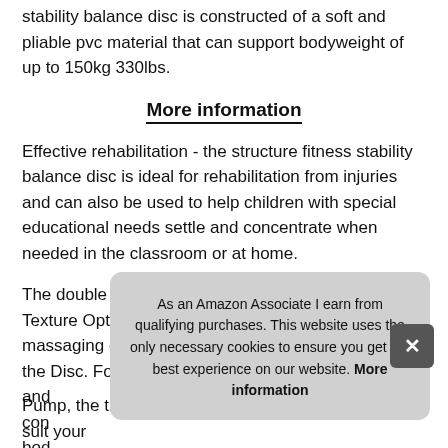stability balance disc is constructed of a soft and pliable pvc material that can support bodyweight of up to 150kg 330lbs.
More information
Effective rehabilitation - the structure fitness stability balance disc is ideal for rehabilitation from injuries and can also be used to help children with special educational needs settle and concentrate when needed in the classroom or at home.
The double sided disc boasts 2 non-slip Surface Texture Options to stimulate the body and provide a massaging effect while sitting, standing or laying on the Disc. Forcing your muscles to constantly balance and adjust your core. This con... bod... d6c...
As an Amazon Associate I earn from qualifying purchases. This website uses the only necessary cookies to ensure you get the best experience on our website. More information
Pump, the thickness of the Disc can be adjusted to suit your